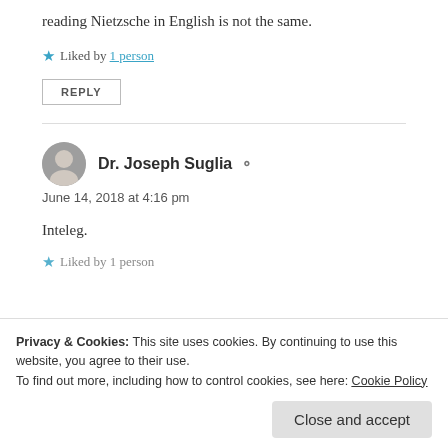reading Nietzsche in English is not the same.
★ Liked by 1 person
REPLY
Dr. Joseph Suglia
June 14, 2018 at 4:16 pm
Inteleg.
★ Liked by 1 person
Privacy & Cookies: This site uses cookies. By continuing to use this website, you agree to their use.
To find out more, including how to control cookies, see here: Cookie Policy
Close and accept
Îmi plac românii. Am luat o clasă despre Nicolae